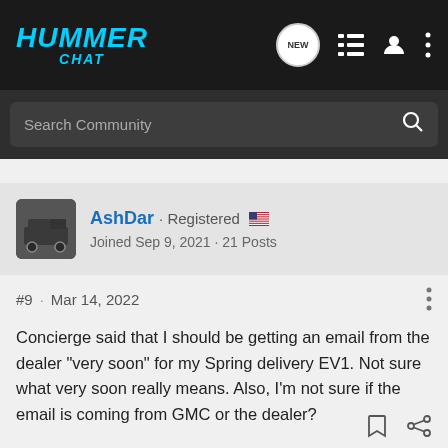HUMMER CHAT
Search Community
AshDar · Registered 🇺🇸 Joined Sep 9, 2021 · 21 Posts
#9 · Mar 14, 2022
Concierge said that I should be getting an email from the dealer "very soon" for my Spring delivery EV1. Not sure what very soon really means. Also, I'm not sure if the email is coming from GMC or the dealer?